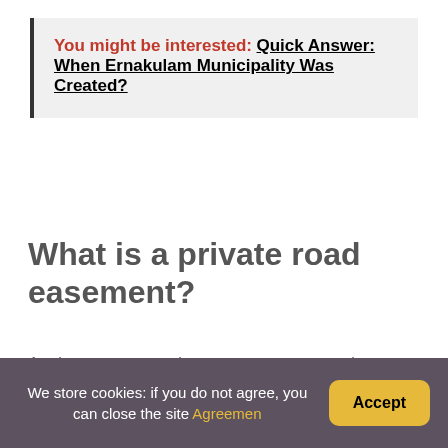You might be interested: Quick Answer: When Ernakulam Municipality Was Created?
What is a private road easement?
A private easement is an easement created between landowners. When such an easement is created one parcel of land will benefit from the easement (the dominant tenement) and the other parcel of land will be burdened by the easement (the servient
We store cookies: if you do not agree, you can close the site Agreemen